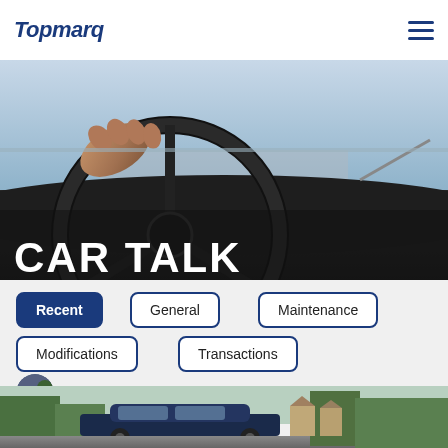Topmarq
[Figure (photo): Close-up photo of a person's hand gripping a black steering wheel, with dashboard and road visible in background. 'CAR TALK' text overlaid in large white bold letters at bottom left.]
CAR TALK
Recent
General
Maintenance
Modifications
Transactions
Cody Hale
[Figure (photo): Partial view of a car parked on a residential street with trees and houses in the background.]